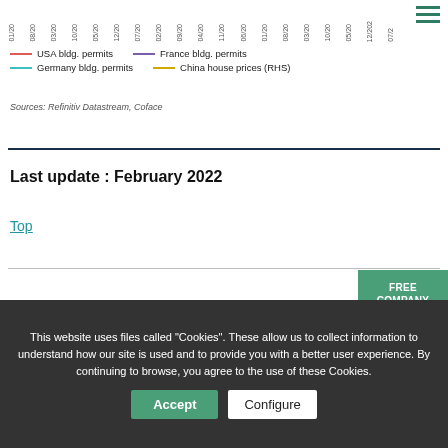[Figure (line-chart): Cropped top of line chart showing x-axis date labels and legend for building permits and China house prices]
Sources: Refinitiv Datastream, Coface
Last update : February 2022
Top
FREE COMPANY SEARCH
This website uses files called "Cookies". These allow us to collect information to understand how our site is used and to provide you with a better user experience. By continuing to browse, you agree to the use of these Cookies.